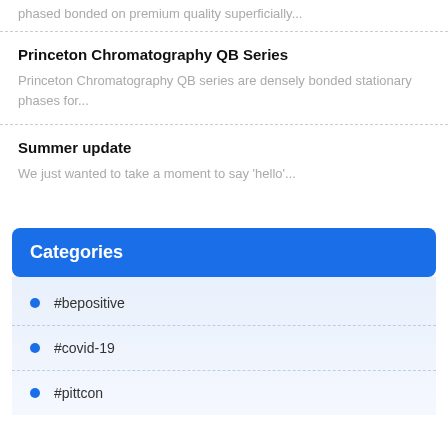phased bonded on premium quality superficially...
Princeton Chromatography QB Series
Princeton Chromatography QB series are densely bonded stationary phases for...
Summer update
We just wanted to take a moment to say 'hello'...
Categories
#bepositive
#covid-19
#pittcon